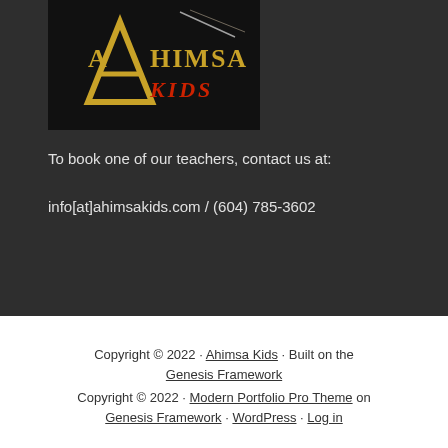[Figure (logo): Ahimsa Kids logo — stylized gold 'A' with 'AHIMSA' in gold and 'KIDS' in red, dark background]
To book one of our teachers, contact us at:
info[at]ahimsakids.com / (604) 785-3602
Copyright © 2022 · Ahimsa Kids · Built on the Genesis Framework
Copyright © 2022 · Modern Portfolio Pro Theme on Genesis Framework · WordPress · Log in